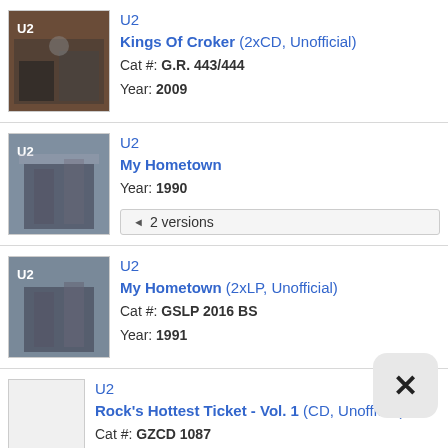U2 | Kings Of Croker (2xCD, Unofficial) | Cat #: G.R. 443/444 | Year: 2009
U2 | My Hometown | Year: 1990 | 2 versions
U2 | My Hometown (2xLP, Unofficial) | Cat #: GSLP 2016 BS | Year: 1991
U2 | Rock's Hottest Ticket - Vol. 1 (CD, Unofficial) | Cat #: GZCD 1087 | Year: 1991